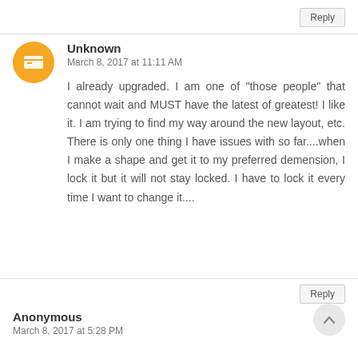Reply
Unknown
March 8, 2017 at 11:11 AM
I already upgraded. I am one of "those people" that cannot wait and MUST have the latest of greatest! I like it. I am trying to find my way around the new layout, etc. There is only one thing I have issues with so far....when I make a shape and get it to my preferred demension, I lock it but it will not stay locked. I have to lock it every time I want to change it....
Reply
Anonymous
March 8, 2017 at 5:28 PM